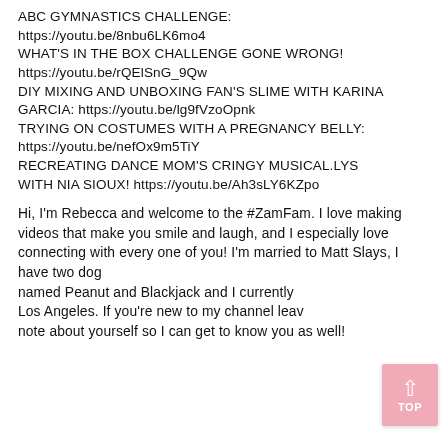ABC GYMNASTICS CHALLENGE: https://youtu.be/8nbu6LK6mo4
WHAT'S IN THE BOX CHALLENGE GONE WRONG! https://youtu.be/rQElSnG_9Qw
DIY MIXING AND UNBOXING FAN'S SLIME WITH KARINA GARCIA: https://youtu.be/lg9fVzoOpnk
TRYING ON COSTUMES WITH A PREGNANCY BELLY: https://youtu.be/nefOx9m5TiY
RECREATING DANCE MOM'S CRINGY MUSICAL.LYS WITH NIA SIOUX! https://youtu.be/Ah3sLY6KZpo
Hi, I'm Rebecca and welcome to the #ZamFam. I love making videos that make you smile and laugh, and I especially love connecting with every one of you! I'm married to Matt Slays, I have two dogs named Peanut and Blackjack and I currently live in Los Angeles. If you're new to my channel leave a little note about yourself so I can get to know you as well!